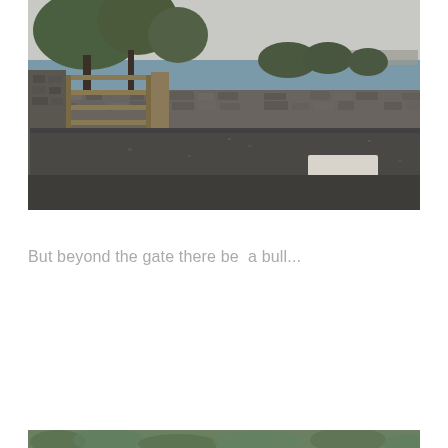[Figure (photo): A rural road scene. On the left side there is a wooden gate set in a dry stone wall, with trees behind it and a body of water and a bridge visible in the background. The foreground shows a dark tarmac road with a white painted road marking. The sky is overcast and grey.]
But beyond the gate there be  a bull...
[Figure (photo): Partial bottom strip of another photograph showing green foliage/vegetation at the edge of the frame.]